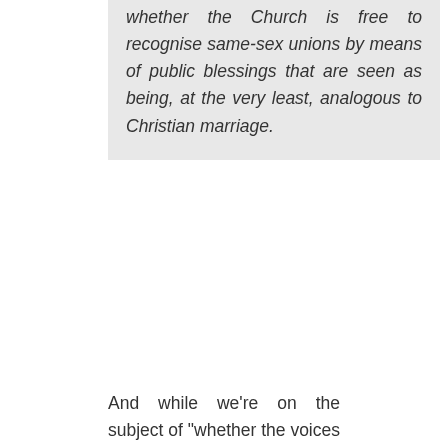whether the Church is free to recognise same-sex unions by means of public blessings that are seen as being, at the very least, analogous to Christian marriage.
And while we’re on the subject of “whether the voices of those within the Church of England who are or who walk alongside lesbian, gay, bisexual and trans people have been adequately heard”, let’s not bring up the issue of the revisionist activist who is one of the signatories to this statement, who objected to my presence at a secret but formally arranged mixed gathering to discuss these issues so much that I was dis-invited. Or what about the house magazine for